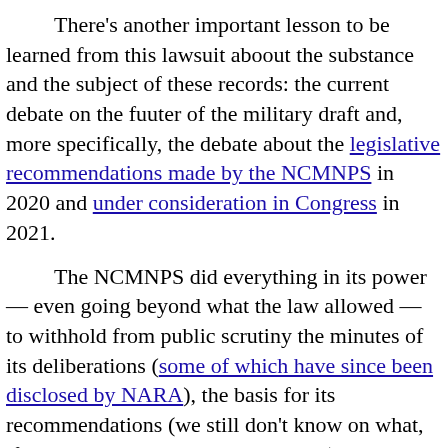There's another important lesson to be learned from this lawsuit aboout the substance and the subject of these records: the current debate on the fuuter of the military draft and, more specifically, the debate about the legislative recommendations made by the NCMNPS in 2020 and under consideration in Congress in 2021.
The NCMNPS did everything in its power — even going beyond what the law allowed — to withhold from public scrutiny the minutes of its deliberations (some of which have since been disclosed by NARA), the basis for its recommendations (we still don't know on what, if any, evidence the NCMNPS relied), its research (almost none of which has yet been released by either the NCMNPS or NARA), or the public input it receievd (only selected portions of which have been released).
As I said in my appeal of the denial of expedited processing of one of my FOIA requests for Commission records: